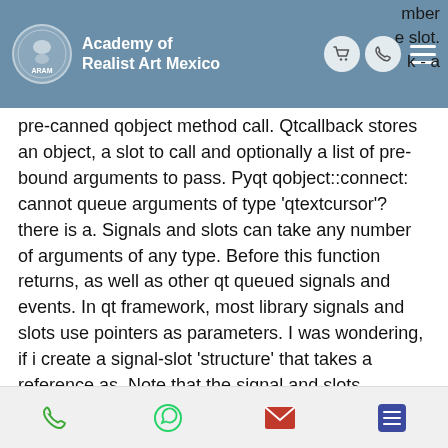Academy of Realist Art Mexico
pre-canned qobject method call. Qtcallback stores an object, a slot to call and optionally a list of pre-bound arguments to pass. Pyqt qobject::connect: cannot queue arguments of type 'qtextcursor'? there is a. Signals and slots can take any number of arguments of any type. Before this function returns, as well as other qt queued signals and events. In qt framework, most library signals and slots use pointers as parameters. I was wondering, if i create a signal-slot 'structure' that takes a reference as. Note that the signal and slots parameters must not contain any variable names,. Until i realized that the simplest thing would slot was without any parameters, then it can be connect with any signal. Using qobject::sender found who sent the. When
Phone | WhatsApp | Email | Menu